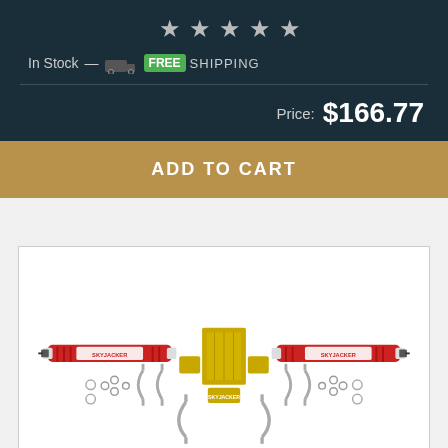[Figure (other): Five star rating icons (grey stars) in a row]
In Stock — FREE SHIPPING
Price: $166.77
ADD TO CART
[Figure (photo): Product photo of a dual steering stabilizer kit (Skyjacker brand) showing two red shock absorbers with mounting hardware, brackets, U-bolts, and other components laid out symmetrically.]